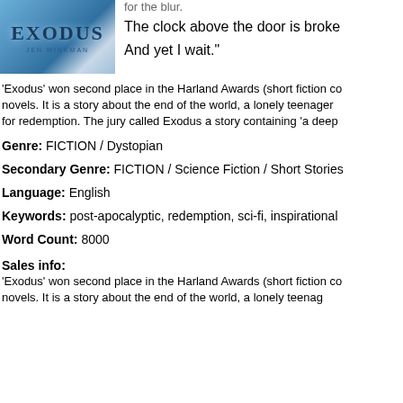[Figure (illustration): Book cover for 'Exodus' by Jen Minkman with blue/icy atmospheric background]
The clock above the door is broke
And yet I wait."
'Exodus' won second place in the Harland Awards (short fiction co novels. It is a story about the end of the world, a lonely teenager for redemption. The jury called Exodus a story containing 'a deep
Genre: FICTION / Dystopian
Secondary Genre: FICTION / Science Fiction / Short Stories
Language: English
Keywords: post-apocalyptic, redemption, sci-fi, inspirational
Word Count: 8000
Sales info:
'Exodus' won second place in the Harland Awards (short fiction co novels. It is a story about the end of the world, a lonely teena